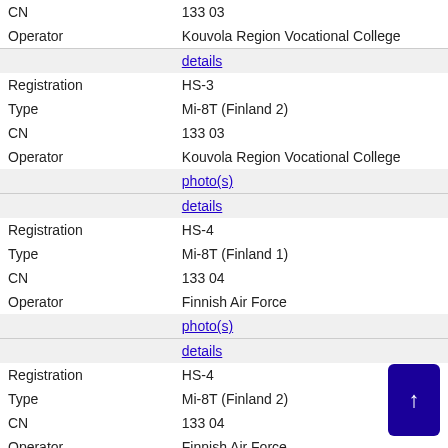| CN | 133 03 |
| Operator | Kouvola Region Vocational College |
|  | details |
| Registration | HS-3 |
| Type | Mi-8T (Finland 2) |
| CN | 133 03 |
| Operator | Kouvola Region Vocational College |
|  | photo(s) |
|  | details |
| Registration | HS-4 |
| Type | Mi-8T (Finland 1) |
| CN | 133 04 |
| Operator | Finnish Air Force |
|  | photo(s) |
|  | details |
| Registration | HS-4 |
| Type | Mi-8T (Finland 2) |
| CN | 133 04 |
| Operator | Finnish Air Force |
|  | details |
| Registration | HS-4 |
| Type | Mi-8T (Finland 2) |
| CN | 133 04 |
| Operator | Finnish Army Air Arm |